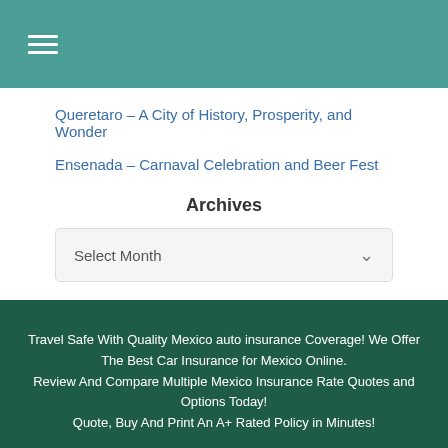☰ (hamburger menu)
Queretaro – A City of History, Prosperity, and Wonder
Ensenada – Carnaval Celebration and Beer Fest
Archives
Select Month
Travel Safe With Quality Mexico auto insurance Coverage! We Offer The Best Car Insurance for Mexico Online. Review And Compare Multiple Mexico Insurance Rate Quotes and Options Today! Quote, Buy And Print An A+ Rated Policy in Minutes!
Copyright 2014 – 2019.   Mexicaninsurancestore.com dba E-Pro Insurance | Sitemap